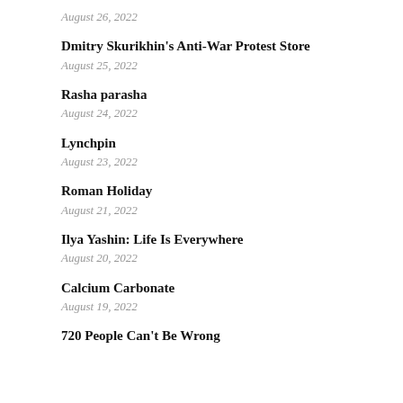August 26, 2022
Dmitry Skurikhin's Anti-War Protest Store
August 25, 2022
Rasha parasha
August 24, 2022
Lynchpin
August 23, 2022
Roman Holiday
August 21, 2022
Ilya Yashin: Life Is Everywhere
August 20, 2022
Calcium Carbonate
August 19, 2022
720 People Can't Be Wrong